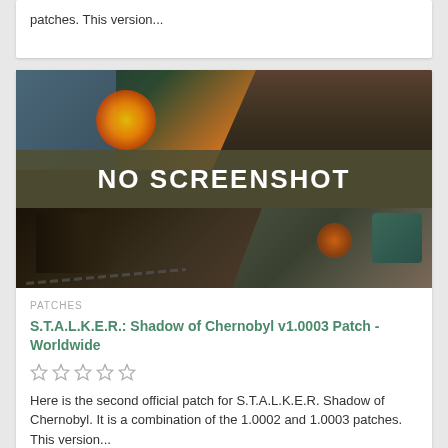patches. This version...
[Figure (screenshot): Game artwork for S.T.A.L.K.E.R. Shadow of Chernobyl showing soldiers in a post-apocalyptic setting with a 'NO SCREENSHOT' banner overlaid in the center]
PATCHES
S.T.A.L.K.E.R.: Shadow of Chernobyl v1.0003 Patch - Worldwide
☆☆☆☆☆
Here is the second official patch for S.T.A.L.K.E.R. Shadow of Chernobyl. It is a combination of the 1.0002 and 1.0003 patches. This version...